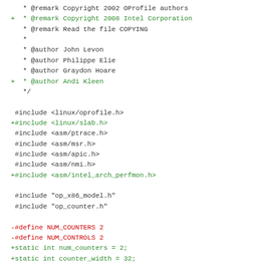[Figure (screenshot): Source code diff showing C header comments and include directives. Lines in green are added lines (prefixed with +), lines in red are removed lines (prefixed with -), and lines in default dark color are unchanged context lines.]